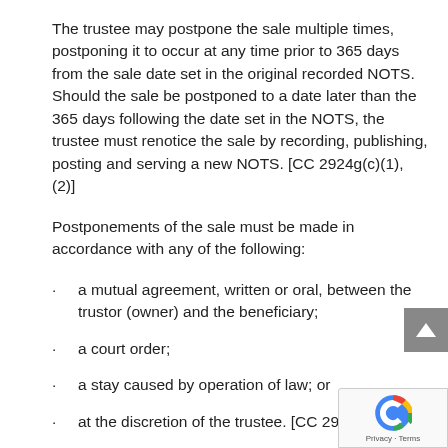The trustee may postpone the sale multiple times, postponing it to occur at any time prior to 365 days from the sale date set in the original recorded NOTS. Should the sale be postponed to a date later than the 365 days following the date set in the NOTS, the trustee must renotice the sale by recording, publishing, posting and serving a new NOTS. [CC 2924g(c)(1), (2)]
Postponements of the sale must be made in accordance with any of the following:
a mutual agreement, written or oral, between the trustor (owner) and the beneficiary;
a court order;
a stay caused by operation of law; or
at the discretion of the trustee. [CC 2924g(c)(2)]